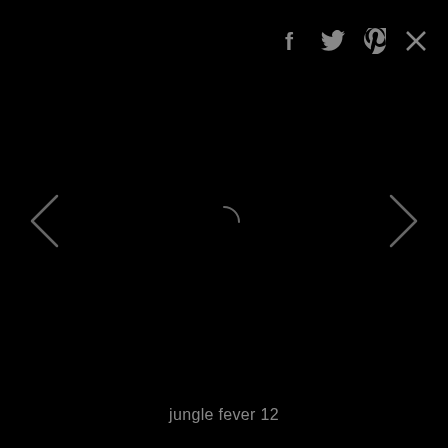[Figure (screenshot): Dark/black image viewer overlay with social sharing icons (Facebook, Twitter, Pinterest, Close) in top right, left and right navigation chevrons on sides, a loading spinner in the center, and a caption 'jungle fever 12' at the bottom.]
jungle fever 12